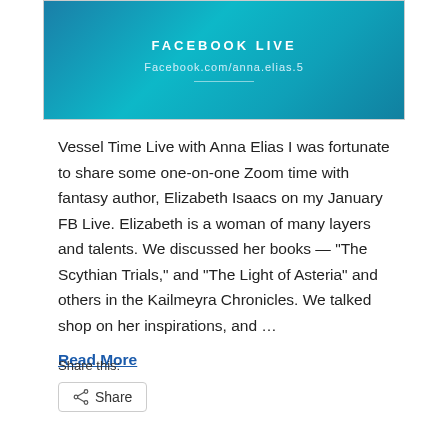[Figure (screenshot): Facebook Live promotional banner with teal/blue gradient background showing 'FACEBOOK LIVE' text and 'Facebook.com/anna.elias.5' URL]
Vessel Time Live with Anna Elias I was fortunate to share some one-on-one Zoom time with fantasy author, Elizabeth Isaacs on my January FB Live. Elizabeth is a woman of many layers and talents. We discussed her books — “The Scythian Trials,” and “The Light of Asteria” and others in the Kailmeyra Chronicles. We talked shop on her inspirations, and …
Read More
Share this:
Share